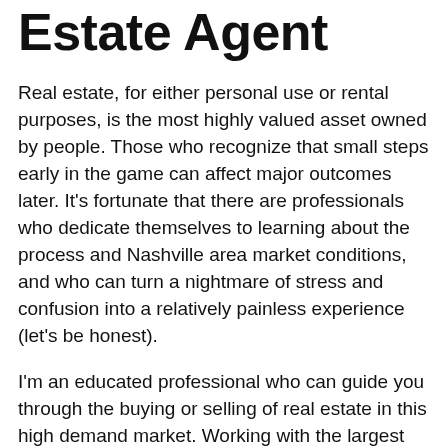Estate Agent
Real estate, for either personal use or rental purposes, is the most highly valued asset owned by people. Those who recognize that small steps early in the game can affect major outcomes later. It's fortunate that there are professionals who dedicate themselves to learning about the process and Nashville area market conditions, and who can turn a nightmare of stress and confusion into a relatively painless experience (let's be honest).
I'm an educated professional who can guide you through the buying or selling of real estate in this high demand market. Working with the largest private real estate company in the state of Tennessee allows access to some of the most unique and quality homes and property. Also, having lived in Nashville for 10 years I've had the